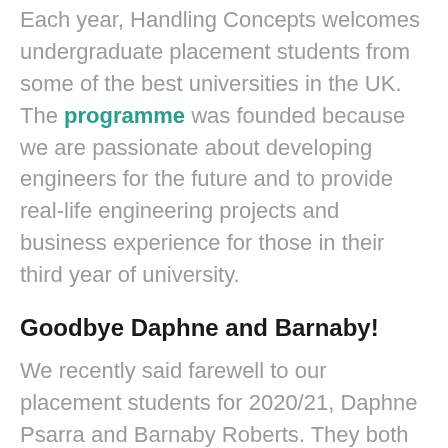Each year, Handling Concepts welcomes undergraduate placement students from some of the best universities in the UK. The programme was founded because we are passionate about developing engineers for the future and to provide real-life engineering projects and business experience for those in their third year of university.
Goodbye Daphne and Barnaby!
We recently said farewell to our placement students for 2020/21, Daphne Psarra and Barnaby Roberts. They both spent the past year as part